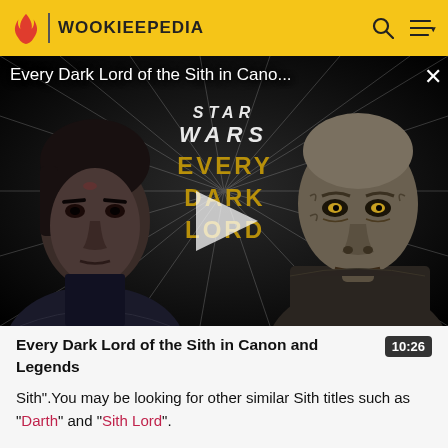WOOKIEEPEDIA
[Figure (screenshot): Video thumbnail showing two Sith characters with Star Wars: Every Dark Lord text and a play button overlay. Title overlay reads: Every Dark Lord of the Sith in Cano...]
Every Dark Lord of the Sith in Canon and Legends
10:26
Sith".You may be looking for other similar Sith titles such as "Darth" and "Sith Lord".